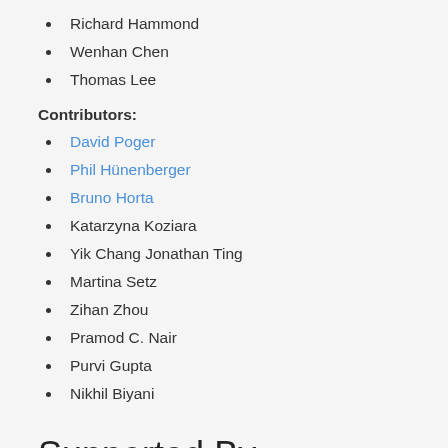Richard Hammond
Wenhan Chen
Thomas Lee
Contributors:
David Poger
Phil Hünenberger
Bruno Horta
Katarzyna Koziara
Yik Chang Jonathan Ting
Martina Setz
Zihan Zhou
Pramod C. Nair
Purvi Gupta
Nikhil Biyani
Supported By
This project is supported by the Australian Research Data Commons (ARDC). The ARDC is enabled by NCRIS.